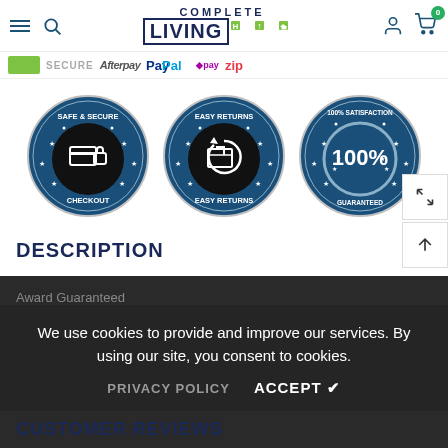[Figure (logo): Complete Living logo with navigation icons (hamburger menu, search, user, cart with 0 badge)]
[Figure (infographic): Payment/trust logos bar: green secure badge, SECURE text, Afterpay, PayPal, AfterPay, Zip logos]
[Figure (infographic): Three circular trust badges: Safe & Secure Checkout, Easy Returns, 100% Satisfaction Guaranteed]
DESCRIPTION
We use cookies to provide and improve our services. By using our site, you consent to cookies.
PRIVACY POLICY   ACCEPT ✔
Award Guaranteed
CUSTOMER REVIEWS